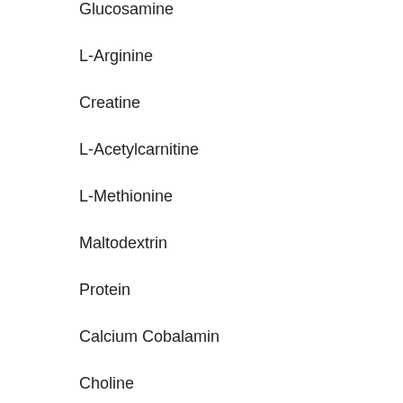Glucosamine
L-Arginine
Creatine
L-Acetylcarnitine
L-Methionine
Maltodextrin
Protein
Calcium Cobalamin
Choline
Magnesium Chloride
Vitamin A